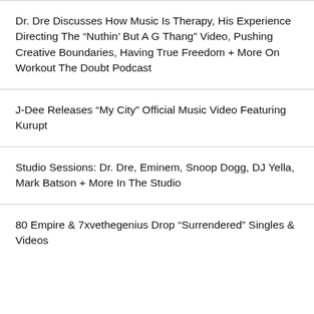Dr. Dre Discusses How Music Is Therapy, His Experience Directing The “Nuthin’ But A G Thang” Video, Pushing Creative Boundaries, Having True Freedom + More On Workout The Doubt Podcast
J-Dee Releases “My City” Official Music Video Featuring Kurupt
Studio Sessions: Dr. Dre, Eminem, Snoop Dogg, DJ Yella, Mark Batson + More In The Studio
80 Empire & 7xvethegenius Drop “Surrendered” Singles & Videos